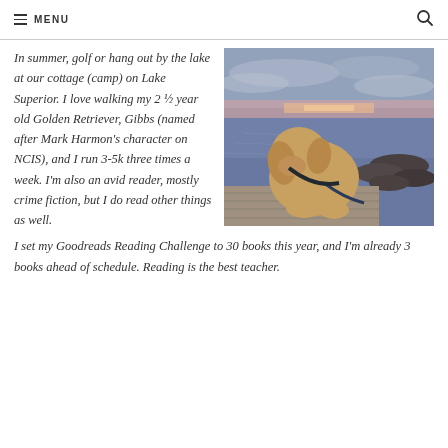MENU
In summer, golf or hang out by the lake at our cottage (camp) on Lake Superior. I love walking my 2 ½ year old Golden Retriever, Gibbs (named after Mark Harmon's character on NCIS), and I run 3-5k three times a week. I'm also an avid reader, mostly crime fiction, but I do read other things as well. I set my Goodreads Reading Challenge to 30 books this year, and I'm already 3 books ahead of schedule. Reading is the best teacher.
[Figure (photo): A Golden Retriever dog sitting on a wooden dock looking out at Lake Superior at sunset, with rocky shoreline and cloudy sky with pink/purple hues on the horizon.]